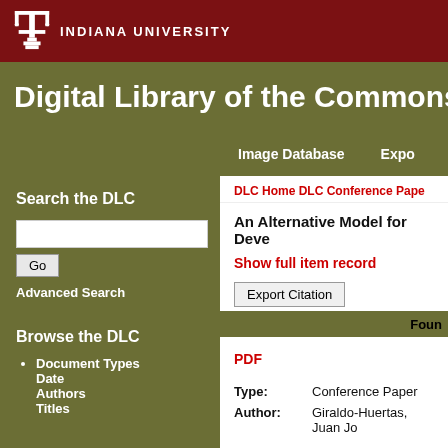[Figure (logo): Indiana University trident logo with 'INDIANA UNIVERSITY' text in white on dark red bar]
Digital Library of the Commons
Image Database  Expo
Search the DLC
Advanced Search
Browse the DLC
Document Types
Date
Authors
Titles
DLC Home  DLC  Conference Pape
An Alternative Model for Deve
Show full item record
Export Citation
Found
PDF
| Field | Value |
| --- | --- |
| Type: | Conference Paper |
| Author: | Giraldo-Huertas, Juan Jo |